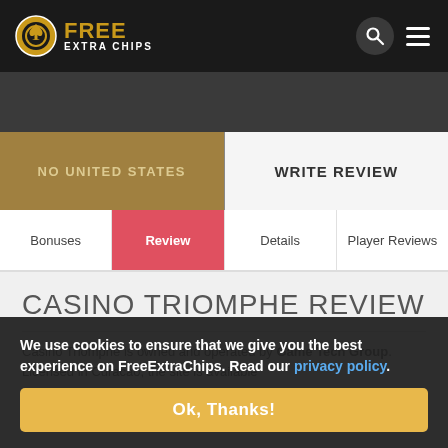FREE EXTRA CHIPS
NO UNITED STATES
WRITE REVIEW
Bonuses
Review
Details
Player Reviews
CASINO TRIOMPHE REVIEW
Casino Triomphe is owned and operated by Game Tech Group. Licensed in Curacao, the site is available ... software issues, but according to the casino they are working on them. That said ... brings players a good cas...
We use cookies to ensure that we give you the best experience on FreeExtraChips. Read our privacy policy. Ok, Thanks!